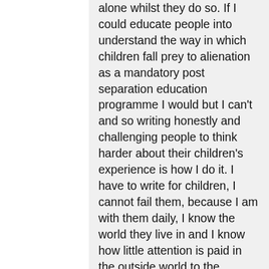alone whilst they do so. If I could educate people into understand the way in which children fall prey to alienation as a mandatory post separation education programme I would but I can't and so writing honestly and challenging people to think harder about their children's experience is how I do it. I have to write for children, I cannot fail them, because I am with them daily, I know the world they live in and I know how little attention is paid in the outside world to the difficulties they suffer. Someone said it feels like I am challenging parent's painful